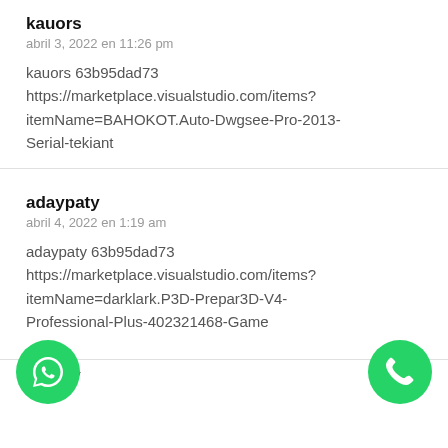kauors
abril 3, 2022 en 11:26 pm
kauors 63b95dad73
https://marketplace.visualstudio.com/items?itemName=BAHOKOT.Auto-Dwgsee-Pro-2013-Serial-tekiant
adaypaty
abril 4, 2022 en 1:19 am
adaypaty 63b95dad73
https://marketplace.visualstudio.com/items?itemName=darklark.P3D-Prepar3D-V4-Professional-Plus-402321468-Game
languy